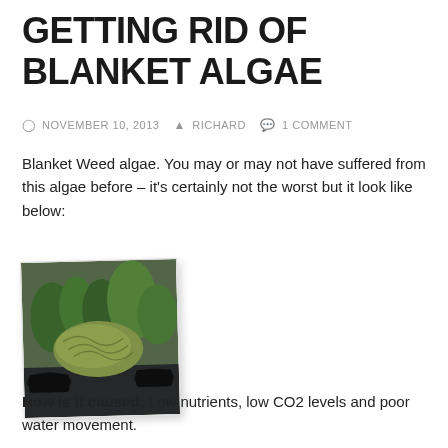GETTING RID OF BLANKET ALGAE
NOVEMBER 10, 2013  RICHARD  1 COMMENT
Blanket Weed algae. You may or may not have suffered from this algae before – it's certainly not the worst but it look like below:
[Figure (photo): A photograph showing blanket weed algae in what appears to be an aquarium or pond setting, with green plants and dark rocky substrate visible.]
How is it caused:  Low nutrients, low CO2 levels and poor water movement.